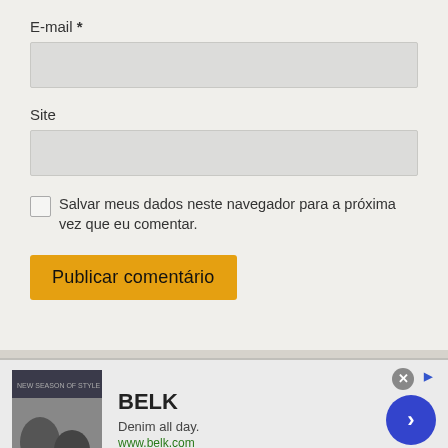E-mail *
[Figure (screenshot): Empty input box for E-mail field]
Site
[Figure (screenshot): Empty input box for Site field]
Salvar meus dados neste navegador para a próxima vez que eu comentar.
Publicar comentário
[Figure (screenshot): Advertisement banner for BELK: Denim all day. www.belk.com with a photo of people and a blue arrow button]